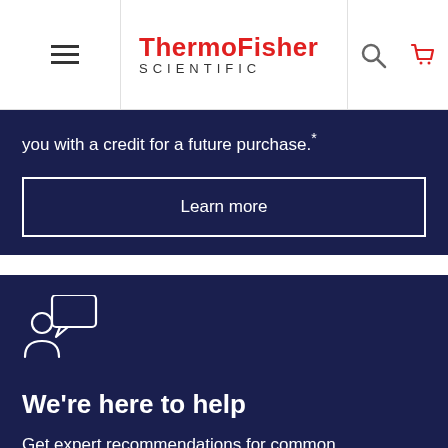ThermoFisher SCIENTIFIC
you with a credit for a future purchase.*
Learn more
[Figure (illustration): Person with speech bubble icon (customer support icon) in white outline on dark navy background]
We're here to help
Get expert recommendations for common